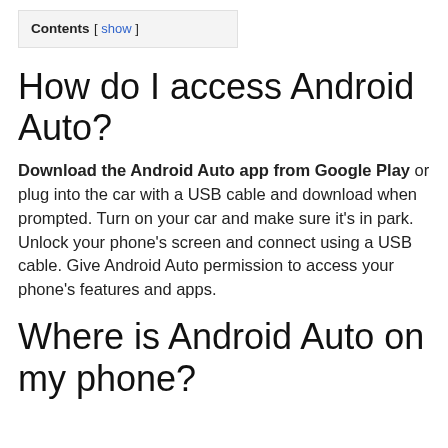Contents [ show ]
How do I access Android Auto?
Download the Android Auto app from Google Play or plug into the car with a USB cable and download when prompted. Turn on your car and make sure it’s in park. Unlock your phone’s screen and connect using a USB cable. Give Android Auto permission to access your phone’s features and apps.
Where is Android Auto on my phone?